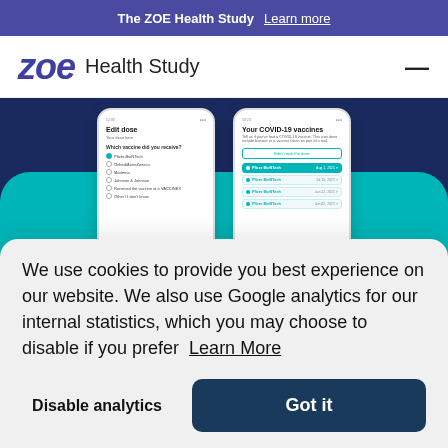The ZOE Health Study   Learn more
[Figure (logo): ZOE Health Study logo with italic 'zoe' in purple and 'Health Study' text]
[Figure (screenshot): Two mobile phone screenshots showing ZOE app vaccine tracking interface on teal and dark blue background]
We use cookies to provide you best experience on our website. We also use Google analytics for our internal statistics, which you may choose to disable if you prefer  Learn More
Disable analytics
Got it
September 16, 2021